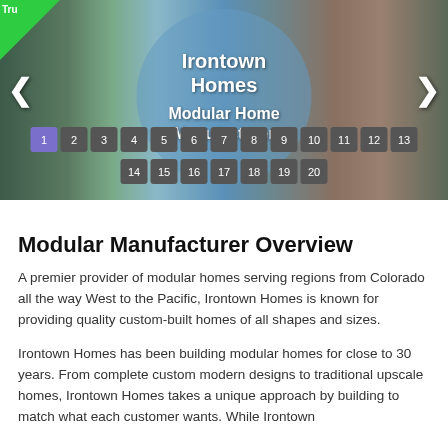[Figure (photo): Hero image slider showing modular homes with Irontown Homes branding overlay in a circular element, navigation arrows, and pagination buttons numbered 1-20]
Modular Manufacturer Overview
A premier provider of modular homes serving regions from Colorado all the way West to the Pacific, Irontown Homes is known for providing quality custom-built homes of all shapes and sizes.
Irontown Homes has been building modular homes for close to 30 years. From complete custom modern designs to traditional upscale homes, Irontown Homes takes a unique approach by building to match what each customer wants. While Irontown